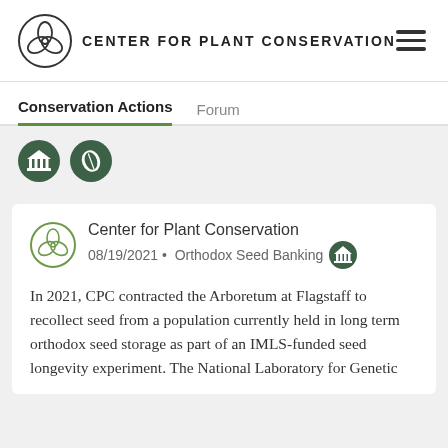CENTER FOR PLANT CONSERVATION
Conservation Actions
Forum
[Figure (logo): Two dark green circular icon buttons: one showing a museum/bank building icon, one showing a seed/leaf icon]
[Figure (logo): Center for Plant Conservation circular logo with interlocking leaf/plant design, olive/green color outline]
Center for Plant Conservation
08/19/2021 • Orthodox Seed Banking
In 2021, CPC contracted the Arboretum at Flagstaff to recollect seed from a population currently held in long term orthodox seed storage as part of an IMLS-funded seed longevity experiment. The National Laboratory for Genetic